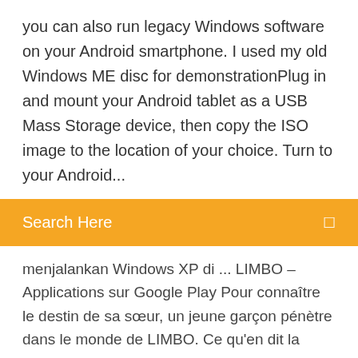you can also run legacy Windows software on your Android smartphone. I used my old Windows ME disc for demonstrationPlug in and mount your Android tablet as a USB Mass Storage device, then copy the ISO image to the location of your choice. Turn to your Android...
Search Here
menjalankan Windows XP di ... LIMBO – Applications sur Google Play Pour connaître le destin de sa sœur, un jeune garçon pénètre dans le monde de LIMBO. Ce qu'en dit la presse : "Limbo is as close to perfect at what it does as ... http://www.babisun.tech/2018/02/how-to-install-windows-7-on-any-android.html http://www.babisun.tech/2018/02/how-to-install-windows-7-on-any-android.html
Download Limbo Game for PC Windows 10, 8, 7 ... - Tech Villian Limbo Game download for android mobiles and PC. See how to